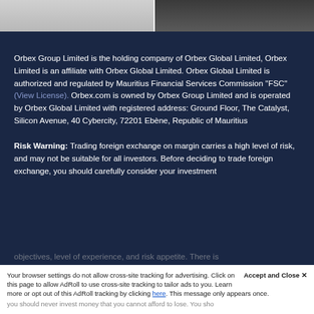[Figure (photo): Two-panel image strip at top: left panel shows a person in light clothing (partially visible), right panel shows a person in dark clothing (partially visible).]
Orbex Group Limited is the holding company of Orbex Global Limited, Orbex Limited is an affiliate with Orbex Global Limited. Orbex Global Limited is authorized and regulated by Mauritius Financial Services Commission "FSC" (View License). Orbex.com is owned by Orbex Group Limited and is operated by Orbex Global Limited with registered address: Ground Floor, The Catalyst, Silicon Avenue, 40 Cybercity, 72201 Ebène, Republic of Mauritius
Risk Warning: Trading foreign exchange on margin carries a high level of risk, and may not be suitable for all investors. Before deciding to trade foreign exchange, you should carefully consider your investment objectives, level of experience, and risk appetite. There is
Your browser settings do not allow cross-site tracking for advertising. Click on this page to allow AdRoll to use cross-site tracking to tailor ads to you. Learn more or opt out of this AdRoll tracking by clicking here. This message only appears once.
you should never invest money that you cannot afford to lose. You sho